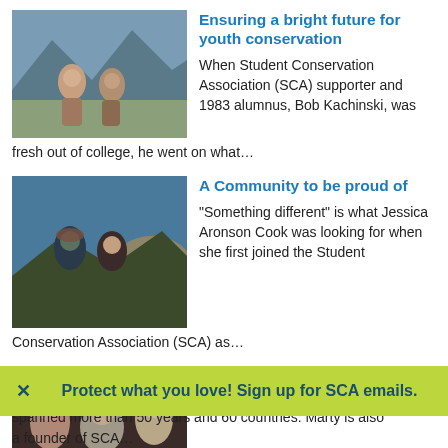[Figure (photo): Two people standing outdoors with mountains and landscape in the background]
Ensuring a bright future for youth conservation
When Student Conservation Association (SCA) supporter and 1983 alumnus, Bob Kachinski, was fresh out of college, he went on what…
[Figure (photo): Two people outdoors near a lake or water body at sunset]
A Community to be proud of
"Something different" is what Jessica Aronson Cook was looking for when she first joined the Student Conservation Association (SCA) as…
[Figure (photo): Three people posing together indoors, one man in the center wearing glasses]
Martha "Marty" Hayne Talbot
Marty Talbot's conservation
Protect what you love! Sign up for SCA emails.
spanned more than 50 years and 60 countries. Marty is also a founder of SCA…